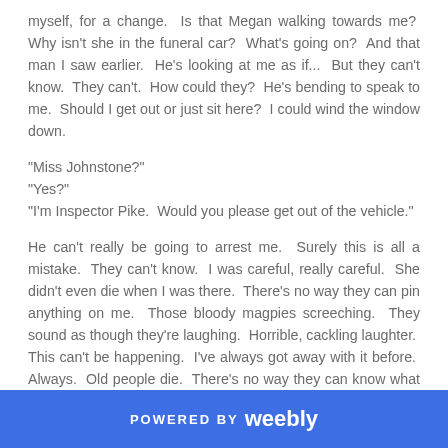myself, for a change.  Is that Megan walking towards me?  Why isn't she in the funeral car?  What's going on?  And that man I saw earlier.  He's looking at me as if...  But they can't know.  They can't.  How could they?  He's bending to speak to me.  Should I get out or just sit here?  I could wind the window down.
"Miss Johnstone?"
"Yes?"
"I'm Inspector Pike.  Would you please get out of the vehicle."
He can't really be going to arrest me.  Surely this is all a mistake.  They can't know.  I was careful, really careful.  She didn't even die when I was there.  There's no way they can pin anything on me.  Those bloody magpies screeching.  They sound as though they're laughing.  Horrible, cackling laughter.  This can't be happening.  I've always got away with it before.  Always.  Old people die.  There's no way they can know what I did.  No way.  And it was a kindness anyway.  She was suffering and I helped her find peace.
POWERED BY weebly